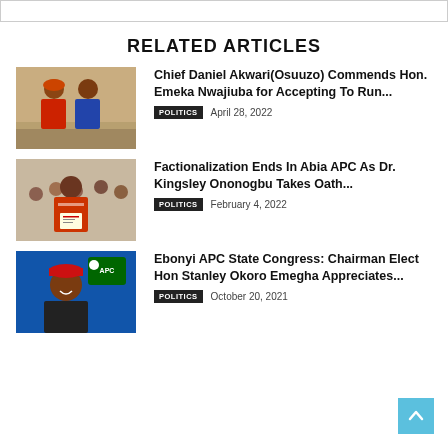RELATED ARTICLES
[Figure (photo): Two men posing together indoors]
Chief Daniel Akwari(Osuuzo) Commends Hon. Emeka Nwajiuba for Accepting To Run...
POLITICS   April 28, 2022
[Figure (photo): Person holding a certificate at an event]
Factionalization Ends In Abia APC As Dr. Kingsley Ononogbu Takes Oath...
POLITICS   February 4, 2022
[Figure (photo): Man in red cap with APC logo in background]
Ebonyi APC State Congress: Chairman Elect Hon Stanley Okoro Emegha Appreciates...
POLITICS   October 20, 2021